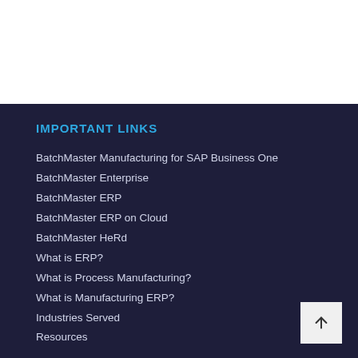IMPORTANT LINKS
BatchMaster Manufacturing for SAP Business One
BatchMaster Enterprise
BatchMaster ERP
BatchMaster ERP on Cloud
BatchMaster HeRd
What is ERP?
What is Process Manufacturing?
What is Manufacturing ERP?
Industries Served
Resources